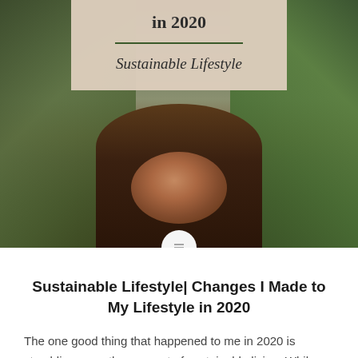[Figure (photo): Hero image of a latte coffee cup on a wooden table with green plants on either side, overlaid with a beige title box containing partial title text 'in 2020', a green divider line, and 'Sustainable Lifestyle' category label]
Sustainable Lifestyle| Changes I Made to My Lifestyle in 2020
The one good thing that happened to me in 2020 is stumbling upon the concept of sustainable living. While I've heard about green initiatives before, I wasn't aware of